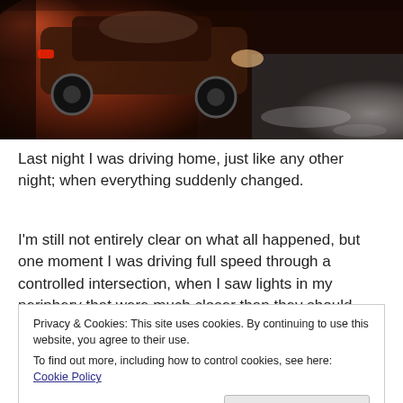[Figure (photo): Night-time photo of a car accident at an intersection, showing a damaged vehicle with reddish ambient lighting and wet pavement.]
Last night I was driving home, just like any other night; when everything suddenly changed.
I'm still not entirely clear on what all happened, but one moment I was driving full speed through a controlled intersection, when I saw lights in my periphery that were much closer than they should have
Privacy & Cookies: This site uses cookies. By continuing to use this website, you agree to their use.
To find out more, including how to control cookies, see here: Cookie Policy
Close and accept